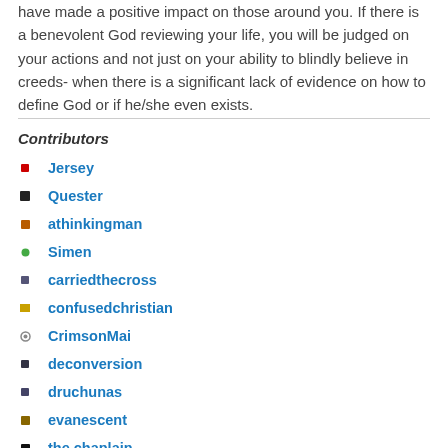have made a positive impact on those around you. If there is a benevolent God reviewing your life, you will be judged on your actions and not just on your ability to blindly believe in creeds- when there is a significant lack of evidence on how to define God or if he/she even exists.
Contributors
Jersey
Quester
athinkingman
Simen
carriedthecross
confusedchristian
CrimsonMai
deconversion
druchunas
evanescent
the chaplain
exevangel